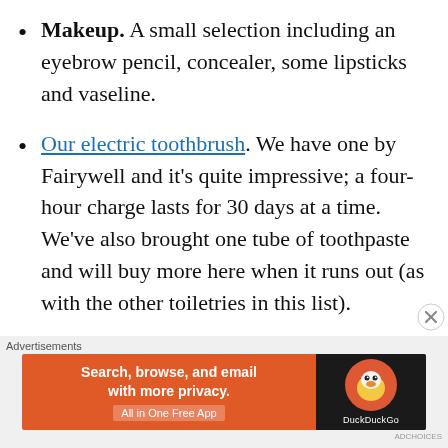Makeup. A small selection including an eyebrow pencil, concealer, some lipsticks and vaseline.
Our electric toothbrush. We have one by Fairywell and it's quite impressive; a four-hour charge lasts for 30 days at a time. We've also brought one tube of toothpaste and will buy more here when it runs out (as with the other toiletries in this list).
Razor. I've brought two spare razor heads with me.
[Figure (infographic): DuckDuckGo advertisement banner: orange background with text 'Search, browse, and email with more privacy. All in One Free App' on the left, and DuckDuckGo logo on dark background on the right.]
Advertisements